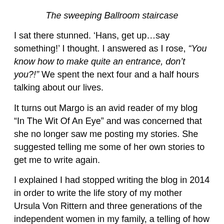The sweeping Ballroom staircase
I sat there stunned. ‘Hans, get up…say something!’ I thought. I answered as I rose, “You know how to make quite an entrance, don’t you?!” We spent the next four and a half hours talking about our lives.
It turns out Margo is an avid reader of my blog “In The Wit Of An Eye” and was concerned that she no longer saw me posting my stories. She suggested telling me some of her own stories to get me to write again.
I explained I had stopped writing the blog in 2014 in order to write the life story of my mother Ursula Von Rittern and three generations of the independent women in my family, a telling of how they survived two world wars in Germany in a book entitled, “Last Train Out of Berlin.” My mother